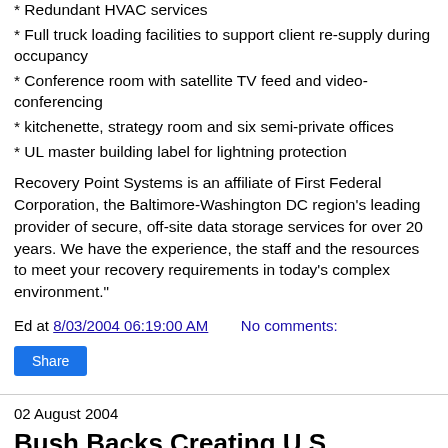* Redundant HVAC services
* Full truck loading facilities to support client re-supply during occupancy
* Conference room with satellite TV feed and video-conferencing
* kitchenette, strategy room and six semi-private offices
* UL master building label for lightning protection
Recovery Point Systems is an affiliate of First Federal Corporation, the Baltimore-Washington DC region's leading provider of secure, off-site data storage services for over 20 years. We have the experience, the staff and the resources to meet your recovery requirements in today's complex environment."
Ed at 8/03/2004 06:19:00 AM   No comments:
Share
02 August 2004
Bush Backs Creating U.S. Antiterrorism